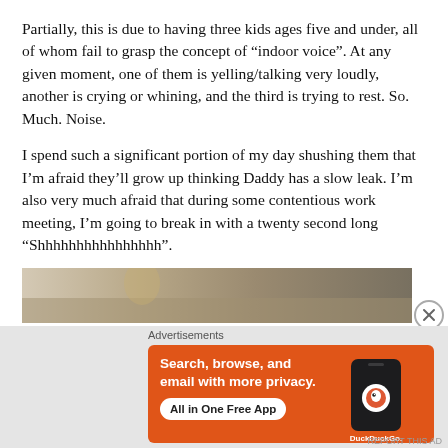Partially, this is due to having three kids ages five and under, all of whom fail to grasp the concept of “indoor voice”. At any given moment, one of them is yelling/talking very loudly, another is crying or whining, and the third is trying to rest. So. Much. Noise.
I spend such a significant portion of my day shushing them that I’m afraid they’ll grow up thinking Daddy has a slow leak. I’m also very much afraid that during some contentious work meeting, I’m going to break in with a twenty second long “Shhhhhhhhhhhhhhhh”.
[Figure (photo): Partial photo strip showing a hallway or corridor scene, cropped]
Advertisements
[Figure (screenshot): DuckDuckGo advertisement banner: orange background with white text 'Search, browse, and email with more privacy. All in One Free App' and a phone graphic showing DuckDuckGo logo]